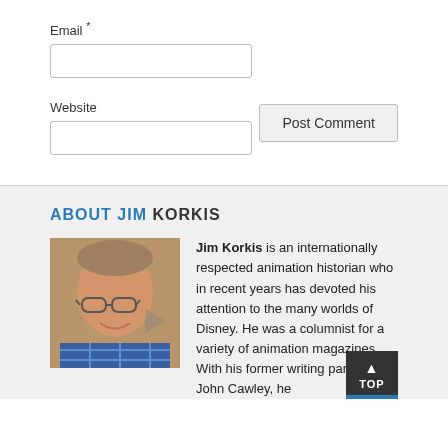Email *
Website
Post Comment
ABOUT JIM KORKIS
[Figure (photo): Portrait photo of Jim Korkis, a middle-aged man with glasses, gray hair, smiling, wearing a plaid shirt]
Jim Korkis is an internationally respected animation historian who in recent years has devoted his attention to the many worlds of Disney. He was a columnist for a variety of animation magazines. With his former writing partner, John Cawley, he